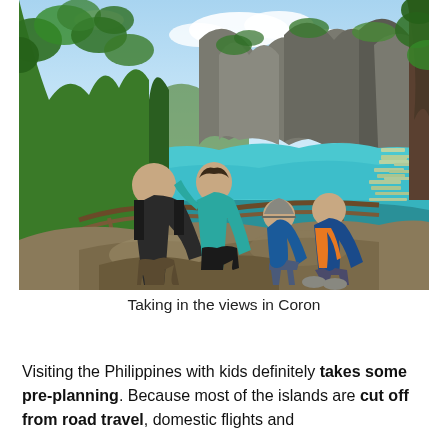[Figure (photo): A family of four posing on a rocky outcrop overlook in Coron, Philippines. Two adults and two children smile for the photo. Behind them is a stunning tropical landscape with turquoise lagoon water, dramatic limestone karst hills, lush green trees, blue sky with clouds, and a marina with boats visible on the right side.]
Taking in the views in Coron
Visiting the Philippines with kids definitely takes some pre-planning. Because most of the islands are cut off from road travel, domestic flights and